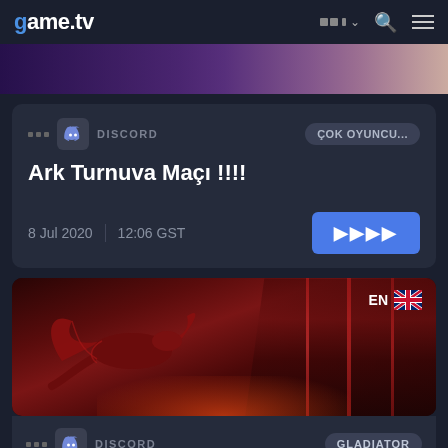game.tv
[Figure (screenshot): game.tv website screenshot showing a tournament listing page]
DISCORD
ÇOK OYUNCU...
Ark Turnuva Maçı !!!!
8 Jul 2020   12:06 GST
[Figure (illustration): Dark red fantasy game image showing a dragon flying through a dark cityscape with red glow, EN flag badge in top right corner]
EN
DISCORD
GLADIATOR